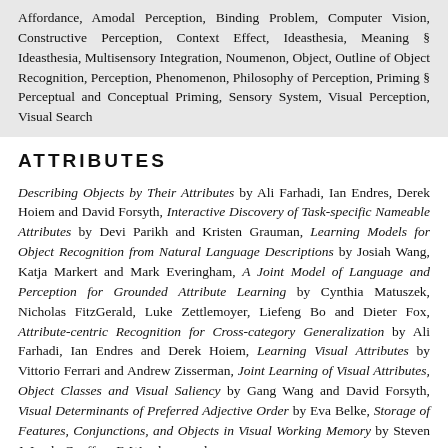Affordance, Amodal Perception, Binding Problem, Computer Vision, Constructive Perception, Context Effect, Ideasthesia, Meaning § Ideasthesia, Multisensory Integration, Noumenon, Object, Outline of Object Recognition, Perception, Phenomenon, Philosophy of Perception, Priming § Perceptual and Conceptual Priming, Sensory System, Visual Perception, Visual Search
ATTRIBUTES
Describing Objects by Their Attributes by Ali Farhadi, Ian Endres, Derek Hoiem and David Forsyth, Interactive Discovery of Task-specific Nameable Attributes by Devi Parikh and Kristen Grauman, Learning Models for Object Recognition from Natural Language Descriptions by Josiah Wang, Katja Markert and Mark Everingham, A Joint Model of Language and Perception for Grounded Attribute Learning by Cynthia Matuszek, Nicholas FitzGerald, Luke Zettlemoyer, Liefeng Bo and Dieter Fox, Attribute-centric Recognition for Cross-category Generalization by Ali Farhadi, Ian Endres and Derek Hoiem, Learning Visual Attributes by Vittorio Ferrari and Andrew Zisserman, Joint Learning of Visual Attributes, Object Classes and Visual Saliency by Gang Wang and David Forsyth, Visual Determinants of Preferred Adjective Order by Eva Belke, Storage of Features, Conjunctions, and Objects in Visual Working Memory by Steven J. Luck, Geoffrey F. Woodman and